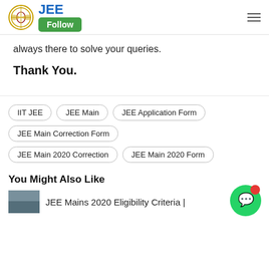JEE Follow
always there to solve your queries.
Thank You.
IIT JEE
JEE Main
JEE Application Form
JEE Main Correction Form
JEE Main 2020 Correction
JEE Main 2020 Form
You Might Also Like
JEE Mains 2020 Eligibility Criteria |